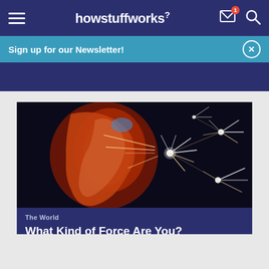howstuffworks
Sign up for our Newsletter!
[Figure (screenshot): A dramatic image of a human face in profile lit with orange-red light, with bright white light streaks and spark bursts radiating outward against a dark background]
The World
What Kind of Force Are You?